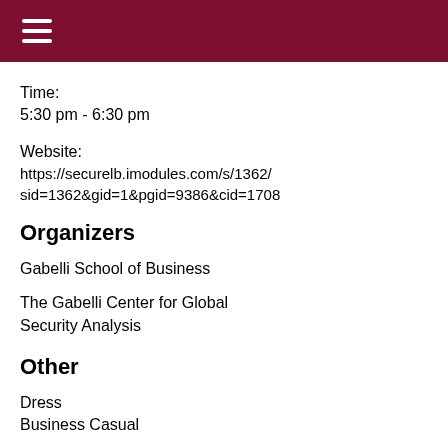Time:
5:30 pm - 6:30 pm
Website:
https://securelb.imodules.com/s/1362/sid=1362&gid=1&pgid=9386&cid=1708
Organizers
Gabelli School of Business
The Gabelli Center for Global Security Analysis
Other
Dress
Business Casual
Open for
U/G-Both undergraduate and